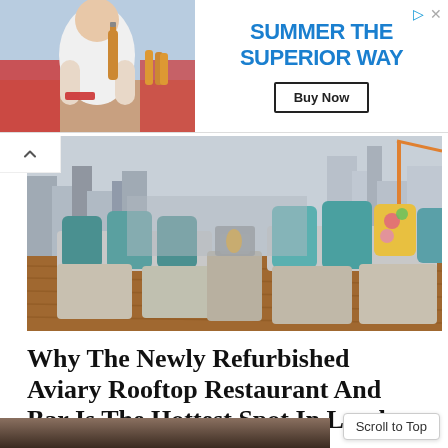[Figure (photo): Advertisement banner: left side shows a man sitting outdoors with a beer bottle, right side shows 'SUMMER THE SUPERIOR WAY' text in blue with a Buy Now button]
[Figure (photo): Rooftop restaurant/bar with teal cushioned outdoor sofas and chairs, wooden deck flooring, city skyline visible in background]
Why The Newly Refurbished Aviary Rooftop Restaurant And Bar Is The Hottest Spot In London This Summer
BY LLM REPORTERS